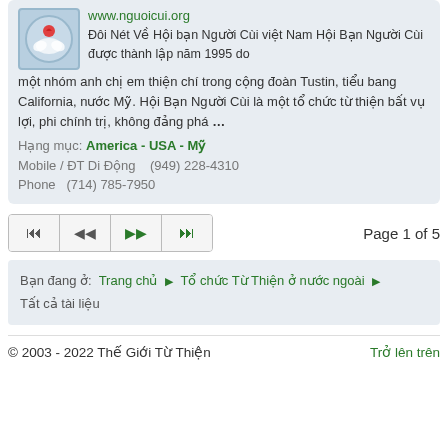www.nguoicui.org
Đôi Nét Về Hội bạn Người Cùi việt Nam Hội Bạn Người Cùi được thành lập năm 1995 do một nhóm anh chị em thiện chí trong cộng đoàn Tustin, tiểu bang California, nước Mỹ. Hội Bạn Người Cùi là một tổ chức từ thiện bất vụ lợi, phi chính trị, không đảng phá ...
Hạng mục: America - USA - Mỹ
Mobile / ĐT Di Động   (949) 228-4310
Phone   (714) 785-7950
Page 1 of 5
Bạn đang ở:  Trang chủ ▶ Tổ chức Từ Thiện ở nước ngoài ▶ Tất cả tài liệu
© 2003 - 2022 Thế Giới Từ Thiện    Trở lên trên